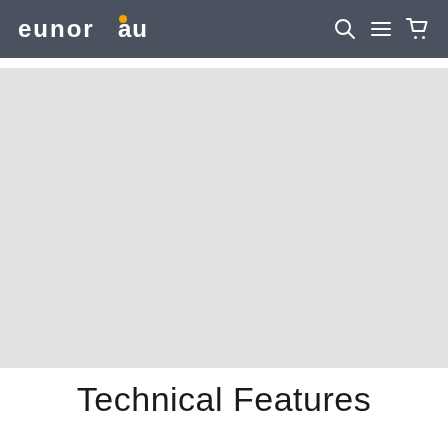EUNORAU
[Figure (photo): Gray placeholder image area for a product or feature photo]
Technical Features